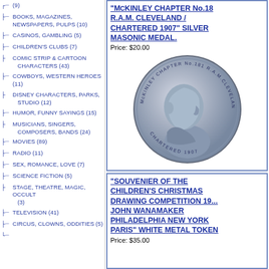(9)
BOOKS, MAGAZINES, NEWSPAPERS, PULPS (10)
CASINOS, GAMBLING (5)
CHILDREN'S CLUBS (7)
COMIC STRIP & CARTOON CHARACTERS (43)
COWBOYS, WESTERN HEROES (11)
DISNEY CHARACTERS, PARKS, STUDIO (12)
HUMOR, FUNNY SAYINGS (15)
MUSICIANS, SINGERS, COMPOSERS, BANDS (24)
MOVIES (89)
RADIO (11)
SEX, ROMANCE, LOVE (7)
SCIENCE FICTION (5)
STAGE, THEATRE, MAGIC, OCCULT (3)
TELEVISION (41)
CIRCUS, CLOWNS, ODDITIES (5)
"McKINLEY CHAPTER No.18 R.A.M. CLEVELAND / CHARTERED 1907" SILVER MASONIC MEDAL.
Price: $20.00
[Figure (photo): Silver Masonic medal showing profile portrait of McKinley, with text around the rim: McKINLEY CHAPTER No.181 R.A.M. CLEVELAND, CHARTERED 1907]
"SOUVENIER OF THE CHILDREN'S CHRISTMAS DRAWING COMPETITION 19... JOHN WANAMAKER PHILADELPHIA NEW YORK PARIS" WHITE METAL TOKEN
Price: $35.00